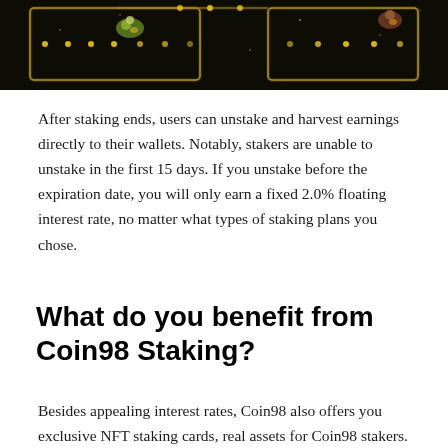[Figure (screenshot): Dark game-like background showing a maze/path with glowing yellow dots and two characters/sprites on a black background with neon yellow light trails]
After staking ends, users can unstake and harvest earnings directly to their wallets. Notably, stakers are unable to unstake in the first 15 days. If you unstake before the expiration date, you will only earn a fixed 2.0% floating interest rate, no matter what types of staking plans you chose.
What do you benefit from Coin98 Staking?
Besides appealing interest rates, Coin98 also offers you exclusive NFT staking cards, real assets for Coin98 stakers.